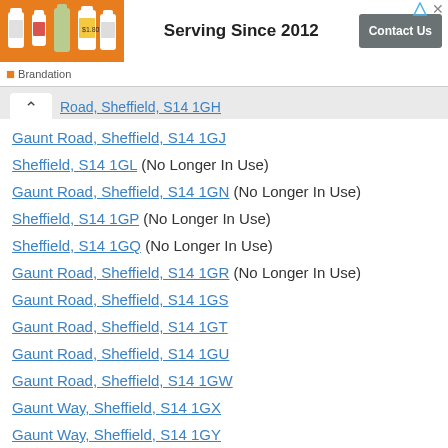[Figure (infographic): Advertisement banner: orange image with product bottles on left, 'Serving Since 2012' bold text center, 'Contact Us' gray button right, 'Brandation' label below]
Road, Sheffield, S14 1GH (truncated, partially visible)
Gaunt Road, Sheffield, S14 1GJ
Sheffield, S14 1GL (No Longer In Use)
Gaunt Road, Sheffield, S14 1GN (No Longer In Use)
Sheffield, S14 1GP (No Longer In Use)
Sheffield, S14 1GQ (No Longer In Use)
Gaunt Road, Sheffield, S14 1GR (No Longer In Use)
Gaunt Road, Sheffield, S14 1GS
Gaunt Road, Sheffield, S14 1GT
Gaunt Road, Sheffield, S14 1GU
Gaunt Road, Sheffield, S14 1GW
Gaunt Way, Sheffield, S14 1GX
Gaunt Way, Sheffield, S14 1GY (partially visible)